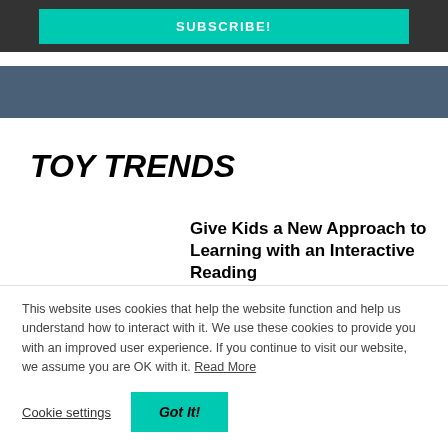SUBSCRIBE!
TOY TRENDS
Give Kids a New Approach to Learning with an Interactive Reading
This website uses cookies that help the website function and help us understand how to interact with it. We use these cookies to provide you with an improved user experience. If you continue to visit our website, we assume you are OK with it. Read More
Cookie settings
Got It!